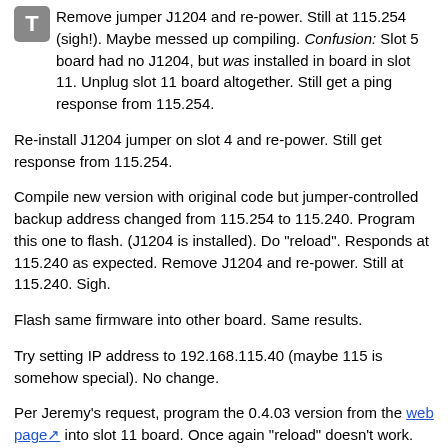Remove jumper J1204 and re-power. Still at 115.254 (sigh!). Maybe messed up compiling. Confusion: Slot 5 board had no J1204, but was installed in board in slot 11. Unplug slot 11 board altogether. Still get a ping response from 115.254.
Re-install J1204 jumper on slot 4 and re-power. Still get response from 115.254.
Compile new version with original code but jumper-controlled backup address changed from 115.254 to 115.240. Program this one to flash. (J1204 is installed). Do "reload". Responds at 115.240 as expected. Remove J1204 and re-power. Still at 115.240. Sigh.
Flash same firmware into other board. Same results.
Try setting IP address to 192.168.115.40 (maybe 115 is somehow special). No change.
Per Jeremy's request, program the 0.4.03 version from the web page into slot 11 board. Once again "reload" doesn't work. Power cycle. Can't access the board at all.
2012-08-02. hazen